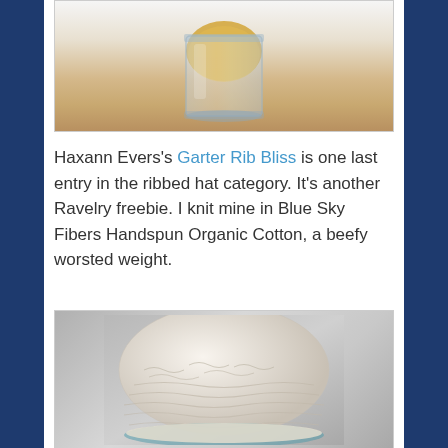[Figure (photo): A glass jar containing yellow/golden fluffy fiber or yarn, photographed against a white background. Only the lower portion of the jar is visible.]
Haxann Evers's Garter Rib Bliss is one last entry in the ribbed hat category. It's another Ravelry freebie. I knit mine in Blue Sky Fibers Handspun Organic Cotton, a beefy worsted weight.
[Figure (photo): A knitted hat in cream/off-white color showing a garter rib texture pattern, photographed against a grey background. The hat shows detailed ribbed and knit stitch patterns across its surface.]